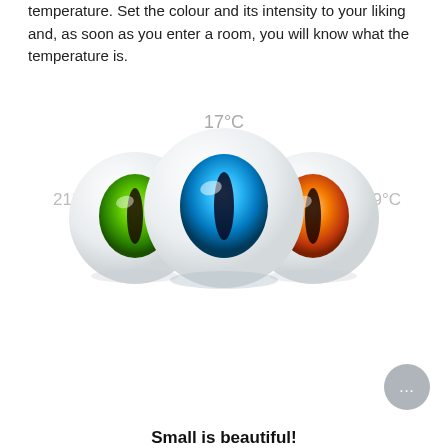temperature. Set the colour and its intensity to your liking and, as soon as you enter a room, you will know what the temperature is.
[Figure (illustration): Three eye-ball shaped smart home sensors with cat-eye pupils. Left sensor has a green eye labeled 21°C, center sensor has a blue eye labeled 17°C, right sensor has an orange eye labeled 29°C. Sensors are white spherical devices with colorful iris-style lenses.]
Small is beautiful!